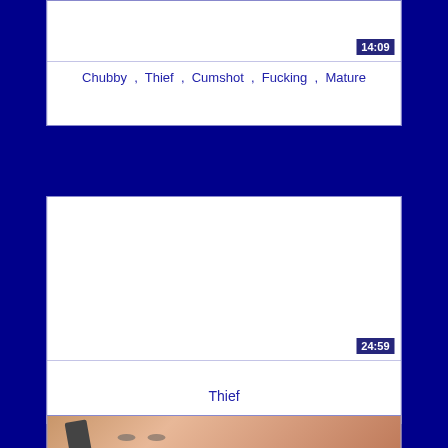[Figure (screenshot): Video thumbnail area (white/blank) with duration badge showing 14:09]
Chubby , Thief , Cumshot , Fucking , Mature
[Figure (screenshot): Video thumbnail area (white/blank) with duration badge showing 24:59]
Thief
[Figure (photo): Close-up photo of a person's face/neck]